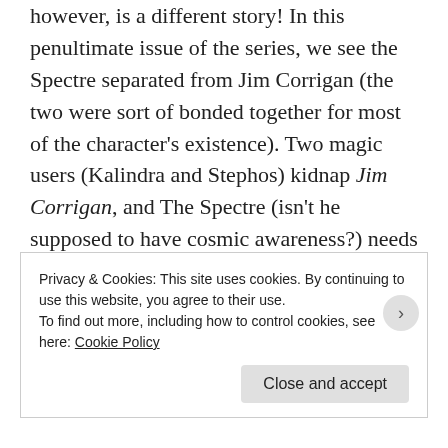however, is a different story! In this penultimate issue of the series, we see the Spectre separated from Jim Corrigan (the two were sort of bonded together for most of the character's existence). Two magic users (Kalindra and Stephos) kidnap Jim Corrigan, and The Spectre (isn't he supposed to have cosmic awareness?) needs to locate his host (Corrigan), so he enlists the help of the greatest living detective, Batman! It isn't long before the hero duo find where Corrigan is
Privacy & Cookies: This site uses cookies. By continuing to use this website, you agree to their use.
To find out more, including how to control cookies, see here: Cookie Policy
Close and accept